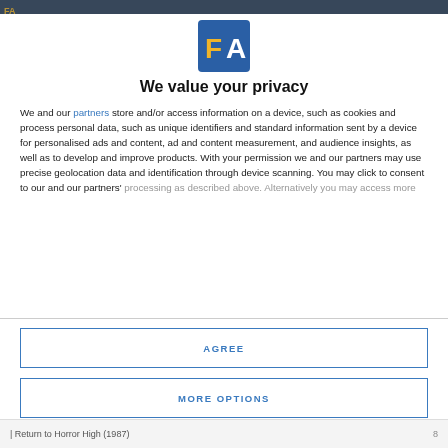[Figure (logo): FA logo: blue square background with yellow letter F and white letter A]
We value your privacy
We and our partners store and/or access information on a device, such as cookies and process personal data, such as unique identifiers and standard information sent by a device for personalised ads and content, ad and content measurement, and audience insights, as well as to develop and improve products. With your permission we and our partners may use precise geolocation data and identification through device scanning. You may click to consent to our and our partners' processing as described above. Alternatively you may access more
AGREE
MORE OPTIONS
Return to Horror High (1987)